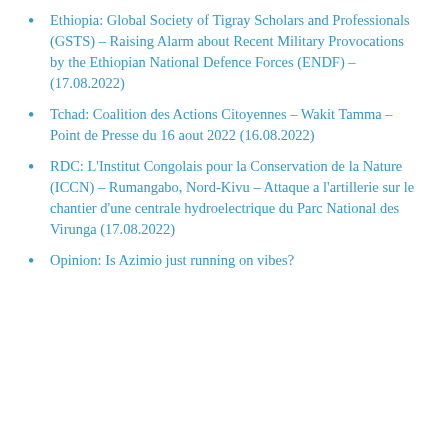Ethiopia: Global Society of Tigray Scholars and Professionals (GSTS) – Raising Alarm about Recent Military Provocations by the Ethiopian National Defence Forces (ENDF) – (17.08.2022)
Tchad: Coalition des Actions Citoyennes – Wakit Tamma – Point de Presse du 16 aout 2022 (16.08.2022)
RDC: L'Institut Congolais pour la Conservation de la Nature (ICCN) – Rumangabo, Nord-Kivu – Attaque a l'artillerie sur le chantier d'une centrale hydroelectrique du Parc National des Virunga (17.08.2022)
Opinion: Is Azimio just running on vibes?